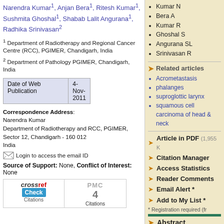Narendra Kumar1, Anjan Bera1, Ritesh Kumar1, Sushmita Ghoshal1, Shabab Lalit Angurana1, Radhika Srinivasan2
1 Department of Radiotherapy and Regional Cancer Centre (RCC), PGIMER, Chandigarh, India
2 Department of Pathology PGIMER, Chandigarh, India
| Date of Web Publication | 4-Nov-2011 |
| --- | --- |
Correspondence Address:
Narendra Kumar
Department of Radiotherapy and RCC, PGIMER, Sector 12, Chandigarh - 160 012
India
Login to access the email ID
Source of Support: None, Conflict of Interest: None
[Figure (logo): CrossRef and PMC citations badges. CrossRef shows 'Check Citations' button; PMC shows '4 Citations'.]
Kumar N
Bera A
Kumar R
Ghoshal S
Angurana SL
Srinivasan R
Related articles
Acrometastasis
phalanges
suproglottic larynx
squamous cell carcinoma of head and neck
Article in PDF (1,955 K
Citation Manager
Access Statistics
Reader Comments
Email Alert *
Add to My List *
* Registration required (fr
Abstract